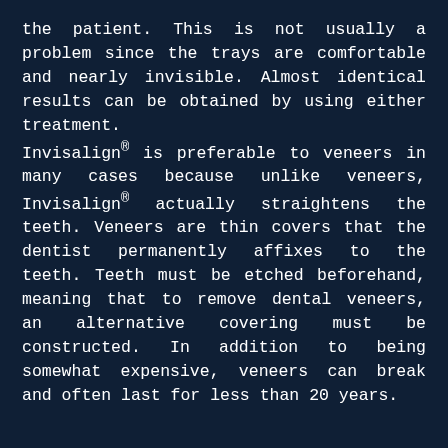the patient. This is not usually a problem since the trays are comfortable and nearly invisible. Almost identical results can be obtained by using either treatment.
Invisalign® is preferable to veneers in many cases because unlike veneers, Invisalign® actually straightens the teeth. Veneers are thin covers that the dentist permanently affixes to the teeth. Teeth must be etched beforehand, meaning that to remove dental veneers, an alternative covering must be constructed. In addition to being somewhat expensive, veneers can break and often last for less than 20 years.